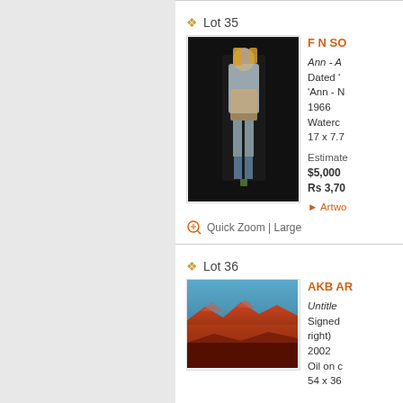Lot 35
[Figure (photo): Watercolor painting of a standing female figure against dark background]
F N SO
Ann - A Dated ' 'Ann - N 1966 Waterc 17 x 7.7 Estimate $5,000 Rs 3,70
Quick Zoom | Large
Lot 36
[Figure (photo): Oil painting landscape with blue sky and orange/red mountains]
AKB AR Untitle Signed right) 2002 Oil on c 54 x 36